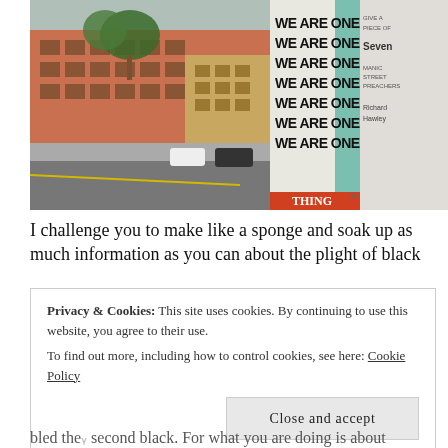[Figure (photo): Street scene with red brick apartment buildings, a road with cars, trees, and in the foreground a billboard/poster reading 'WE ARE ONE' repeated multiple times in bold black text on a white/green background. Additional posters visible on the side of the pillar.]
I challenge you to make like a sponge and soak up as much information as you can about the plight of black
Privacy & Cookies: This site uses cookies. By continuing to use this website, you agree to their use.
To find out more, including how to control cookies, see here: Cookie Policy
Close and accept
bled the second black. For what you are doing is about standing